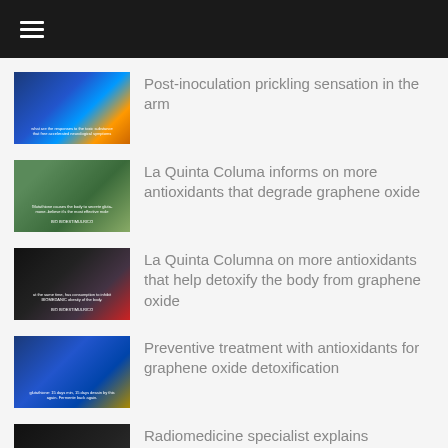☰
Post-inoculation prickling sensation in the arm
La Quinta Columa informs on more antioxidants that degrade graphene oxide
La Quinta Columna on more antioxidants that help detoxify the body from graphene oxide
Preventive treatment with antioxidants for graphene oxide detoxification
Radiomedicine specialist explains